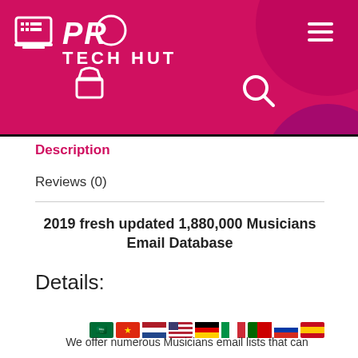[Figure (logo): PRO TECH HUT logo with laptop icon on crimson/magenta background header]
Description
Reviews (0)
2019 fresh updated 1,880,000 Musicians Email Database
Details:
[Figure (illustration): Row of country flag emoji icons]
We offer numerous Musicians email lists that can